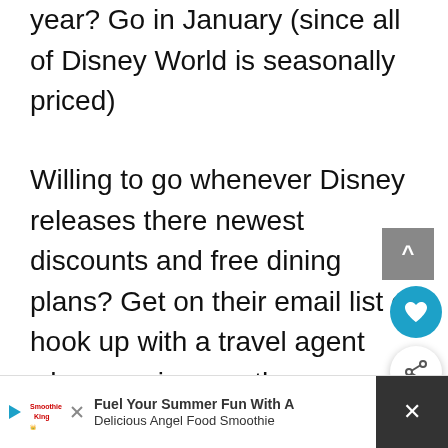year? Go in January (since all of Disney World is seasonally priced)
Willing to go whenever Disney releases there newest discounts and free dining plans? Get on their email list or hook up with a travel agent who can give you the scoop on what's available for 2020 and 2021.
If it was me, I would go during the week in the spring and fall seasons, totally skip the
[Figure (screenshot): Advertisement banner: Smoothie King ad reading 'Fuel Your Summer Fun With A Delicious Angel Food Smoothie' with a navigation icon and close button]
[Figure (screenshot): UI overlay: scroll-to-top button (grey), heart/save button (teal circle), and share button (white circle with shadow)]